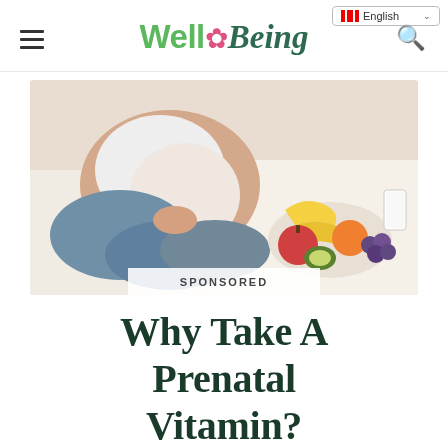Well Being — English
[Figure (photo): Pregnant woman sitting cross-legged on a bed, holding her belly, with a plate of fruits (banana, apple, kiwi, orange, grapes) and a glass of milk beside her. Sponsored badge overlay at the bottom.]
Why Take A Prenatal Vitamin?